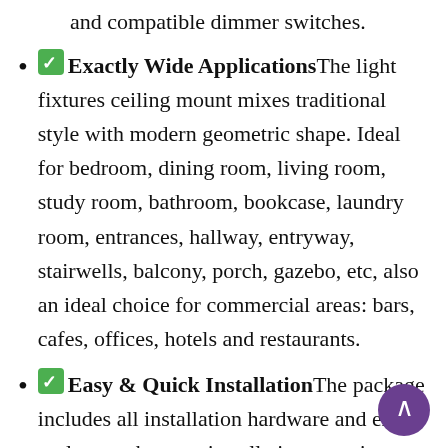and compatible dimmer switches.
✅ Exactly Wide Applications The light fixtures ceiling mount mixes traditional style with modern geometric shape. Ideal for bedroom, dining room, living room, study room, bathroom, bookcase, laundry room, entrances, hallway, entryway, stairwells, balcony, porch, gazebo, etc, also an ideal choice for commercial areas: bars, cafes, offices, hotels and restaurants.
✅ Easy & Quick Installation The package includes all installation hardware and extra tools to make your installation experience easier and faster. The installation of rustic kitchen light fixtures ceiling lamp is simple with step-by-step instructions. Do it yourself at kitchen is difficult...